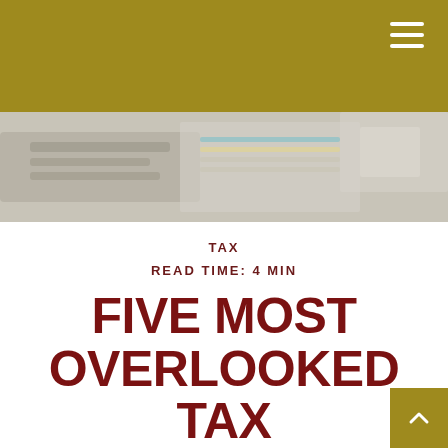[Figure (photo): Navigation header bar in olive/gold color with hamburger menu icon (three white lines) in top right corner]
[Figure (photo): Hero image showing a desk scene with papers, calculator, and documents in muted gray-beige tones]
TAX
READ TIME: 4 MIN
FIVE MOST OVERLOOKED TAX DEDUCTIONS
Who among us wants to pay the IRS more taxes than we have to?
While few may raise their hands, Americans regularly